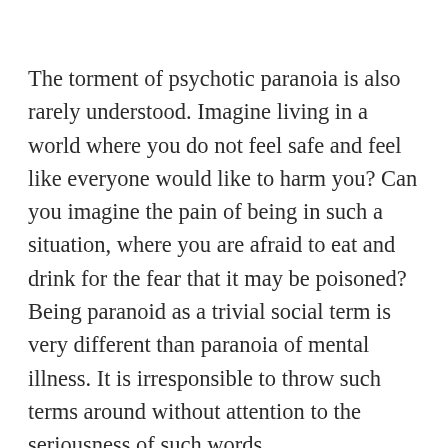The torment of psychotic paranoia is also rarely understood. Imagine living in a world where you do not feel safe and feel like everyone would like to harm you? Can you imagine the pain of being in such a situation, where you are afraid to eat and drink for the fear that it may be poisoned? Being paranoid as a trivial social term is very different than paranoia of mental illness. It is irresponsible to throw such terms around without attention to the seriousness of such words.